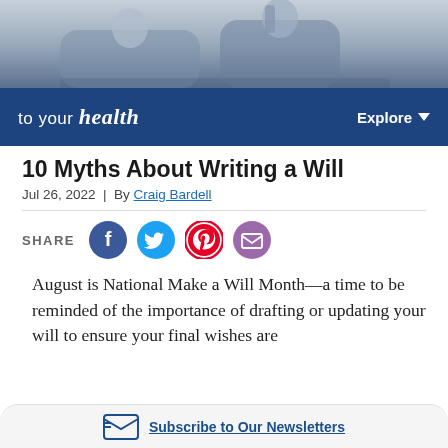[Figure (photo): Two people sitting on a couch, one holding a phone or remote, partial view from mid-torso up]
to your health   Explore
10 Myths About Writing a Will
Jul 26, 2022  |  By Craig Bardell
[Figure (infographic): Social share buttons: Facebook, Twitter, Pinterest, Email]
August is National Make a Will Month—a time to be reminded of the importance of drafting or updating your will to ensure your final wishes are
Subscribe to Our Newsletters